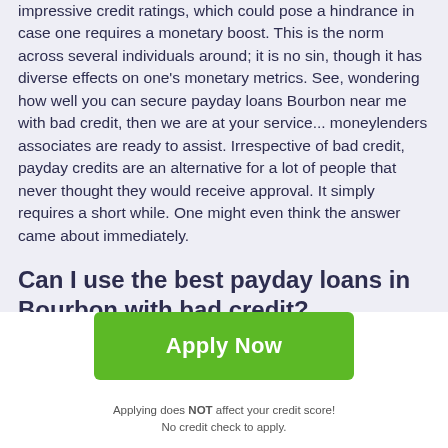impressive credit ratings, which could pose a hindrance in case one requires a monetary boost. This is the norm across several individuals around; it is no sin, though it has diverse effects on one's monetary metrics. See, wondering how well you can secure payday loans Bourbon near me with bad credit, then we are at your service... moneylenders associates are ready to assist. Irrespective of bad credit, payday credits are an alternative for a lot of people that never thought they would receive approval. It simply requires a short while. One might even think the answer came about immediately.
Can I use the best payday loans in Bourbon with bad credit?
Apply Now
Applying does NOT affect your credit score!
No credit check to apply.